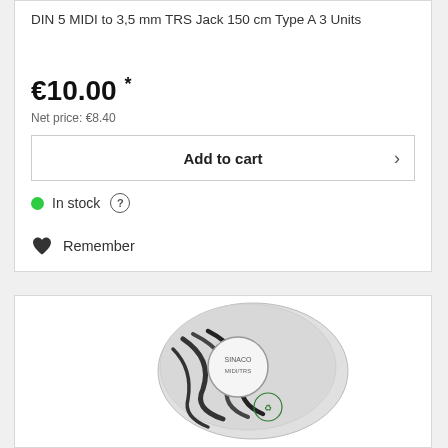DIN 5 MIDI to 3,5 mm TRS Jack 150 cm Type A 3 Units
€10.00 *
Net price: €8.40
Add to cart
In stock ?
Remember
[Figure (photo): Product photo showing MIDI to TRS Jack cables in clear plastic packaging with a circular label]